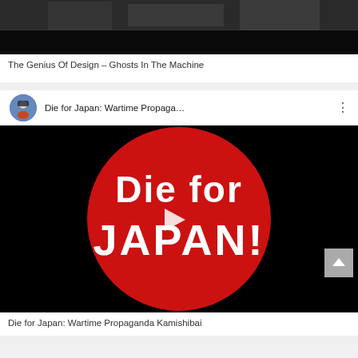[Figure (screenshot): Top portion of a video thumbnail showing a dark/black and white historical image, partially cropped]
The Genius Of Design – Ghosts In The Machine
[Figure (screenshot): YouTube video embed showing 'Die for Japan: Wartime Propaga...' with a channel avatar, three-dot menu, and a thumbnail showing 'Die for JAPAN!' text on a red circle against black background with a play button]
Die for Japan: Wartime Propaganda Kamishibai